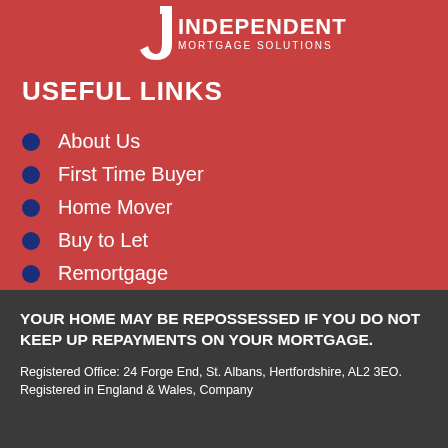[Figure (logo): Independent Mortgage Solutions logo with stylized J and company name]
USEFUL LINKS
About Us
First Time Buyer
Home Mover
Buy to Let
Remortgage
YOUR HOME MAY BE REPOSSESSED IF YOU DO NOT KEEP UP REPAYMENTS ON YOUR MORTGAGE.
Registered Office: 24 Forge End, St. Albans, Hertfordshire, AL2 3EO. Registered in England & Wales, Company